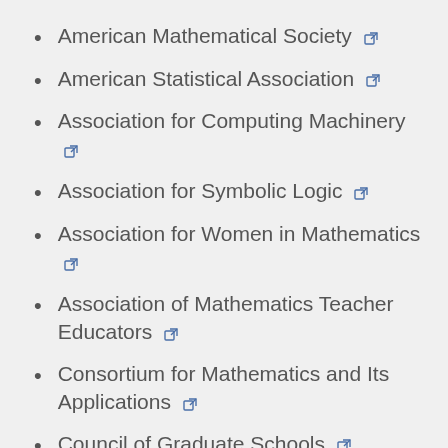American Mathematical Society
American Statistical Association
Association for Computing Machinery
Association for Symbolic Logic
Association for Women in Mathematics
Association of Mathematics Teacher Educators
Consortium for Mathematics and Its Applications
Council of Graduate Schools
IEEE
Mathematical Association of America
Mathematical Society of Teachers of...